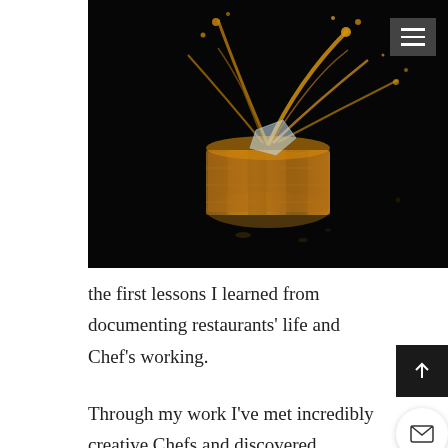[Figure (photo): Close-up dramatic photo of a whiskey glass splashing liquid upward against a black background, with amber liquid and ice shards flying through the air]
the first lessons I learned from documenting restaurants' life and Chef's working.
Through my work I've met incredibly creative Chefs and discovered dedicated owners and